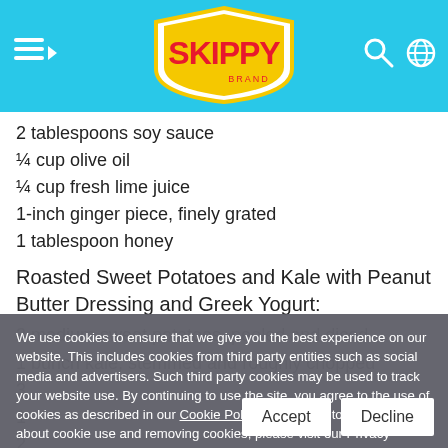SKIPPY brand header with navigation menu, logo, search and globe icons
2 tablespoons soy sauce
¼ cup olive oil
¼ cup fresh lime juice
1-inch ginger piece, finely grated
1 tablespoon honey
Roasted Sweet Potatoes and Kale with Peanut Butter Dressing and Greek Yogurt:
3 medium sweet potatoes, peeled and diced
1 bunch kale, stemmed and roughly chopped
We use cookies to ensure that we give you the best experience on our website. This includes cookies from third party entities such as social media and advertisers. Such third party cookies may be used to track your website use. By continuing to use the site, you agree to the use of cookies as described in our Cookie Policy. If you wish to know more about cookie use and removing cookies, please visit our Privacy Information page. Please note that parts of this site may not function correctly if you disable all cookies.
2 tablespoons pomegranate syrup
1 cup plain Greek yogurt
Cinnamon